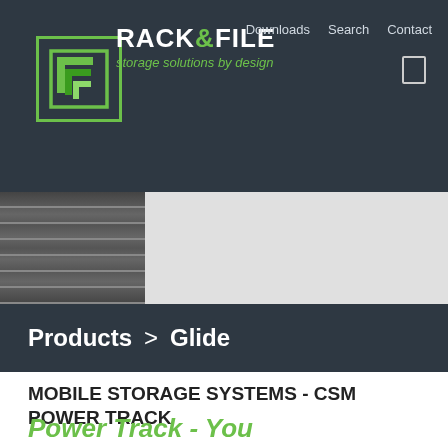[Figure (logo): Rack & File logo with green square bracket icon and text 'RACK&FILE storage solutions by design']
Downloads  Search  Contact
[Figure (photo): Hero image strip showing shelving/rack storage on the left, grey panel on the right]
Products > Glide
MOBILE STORAGE SYSTEMS - CSM POWER TRACK
Power Track - You